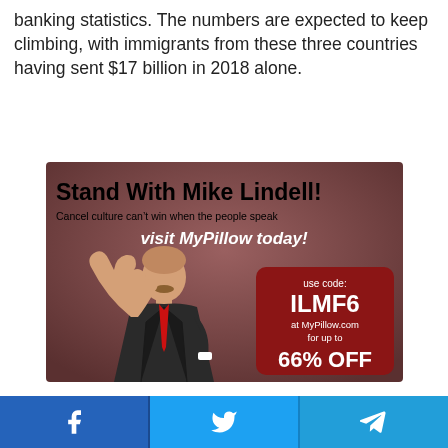banking statistics. The numbers are expected to keep climbing, with immigrants from these three countries having sent $17 billion in 2018 alone.
[Figure (infographic): Advertisement for MyPillow featuring Mike Lindell giving a thumbs up. Text reads: 'Stand With Mike Lindell! Cancel culture can't win when the people speak visit MyPillow today! use code: ILMF6 at MyPillow.com for up to 66% OFF']
Social share buttons: Facebook, Twitter, Telegram